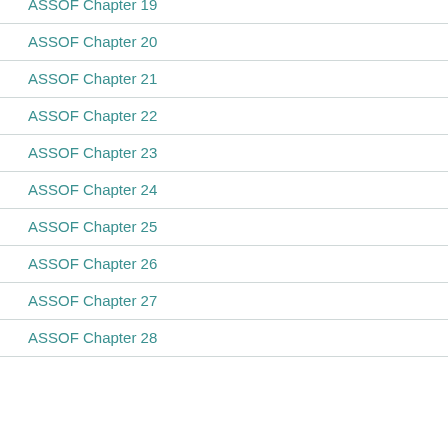ASSOF Chapter 19
ASSOF Chapter 20
ASSOF Chapter 21
ASSOF Chapter 22
ASSOF Chapter 23
ASSOF Chapter 24
ASSOF Chapter 25
ASSOF Chapter 26
ASSOF Chapter 27
ASSOF Chapter 28